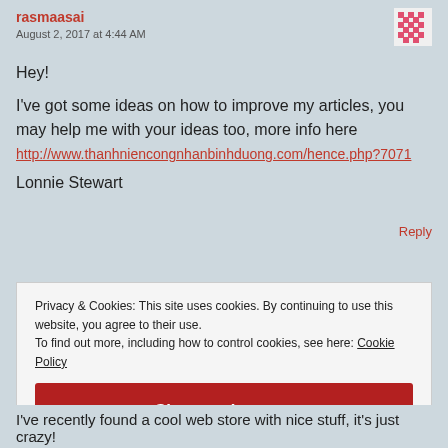rasmaasai
August 2, 2017 at 4:44 AM
Hey!
I've got some ideas on how to improve my articles, you may help me with your ideas too, more info here
http://www.thanhniencongnhanbinhduong.com/hence.php?7071
Lonnie Stewart
Reply
Privacy & Cookies: This site uses cookies. By continuing to use this website, you agree to their use.
To find out more, including how to control cookies, see here: Cookie Policy
Close and accept
I've recently found a cool web store with nice stuff, it's just crazy!